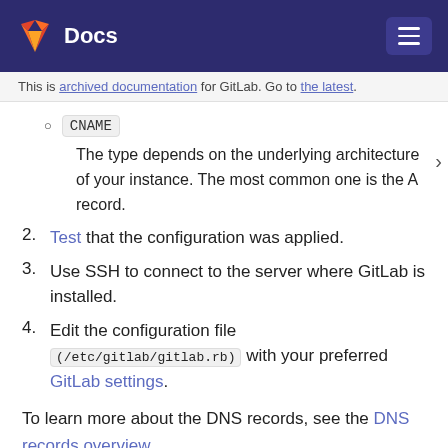Docs
This is archived documentation for GitLab. Go to the latest.
CNAME
The type depends on the underlying architecture of your instance. The most common one is the A record.
2. Test that the configuration was applied.
3. Use SSH to connect to the server where GitLab is installed.
4. Edit the configuration file (/etc/gitlab/gitlab.rb) with your preferred GitLab settings.
To learn more about the DNS records, see the DNS records overview.
Use a dynamic DNS service